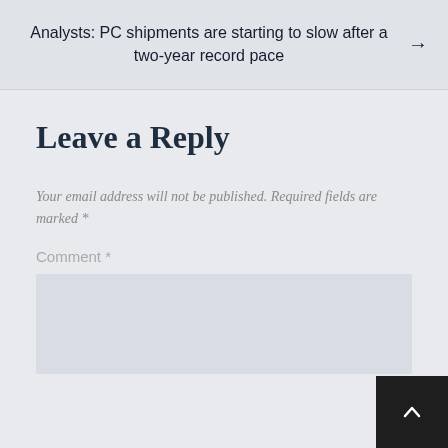Analysts: PC shipments are starting to slow after a two-year record pace →
Leave a Reply
Your email address will not be published. Required fields are marked *
Comment *